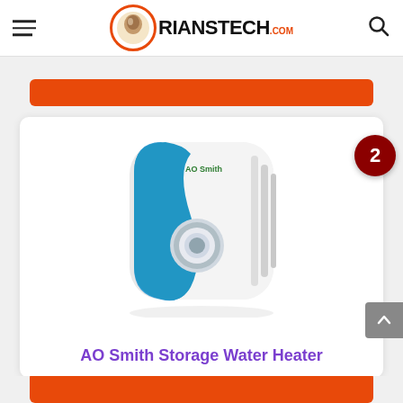RIANSTECH.COM
[Figure (photo): AO Smith white and blue storage water heater with a round dial control, positioned on a white background]
AO Smith Storage Water Heater